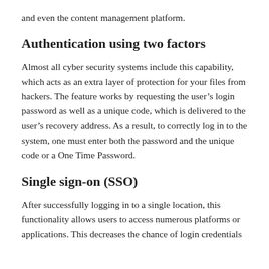and even the content management platform.
Authentication using two factors
Almost all cyber security systems include this capability, which acts as an extra layer of protection for your files from hackers. The feature works by requesting the user’s login password as well as a unique code, which is delivered to the user’s recovery address. As a result, to correctly log in to the system, one must enter both the password and the unique code or a One Time Password.
Single sign-on (SSO)
After successfully logging in to a single location, this functionality allows users to access numerous platforms or applications. This decreases the chance of login credentials